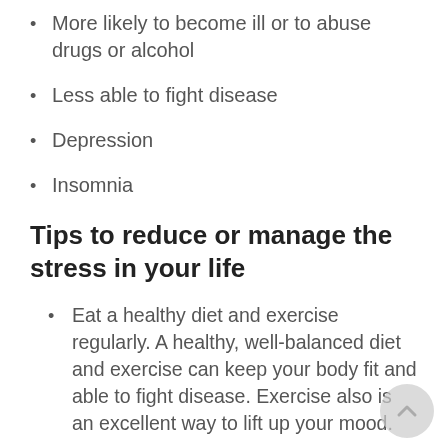More likely to become ill or to abuse drugs or alcohol
Less able to fight disease
Depression
Insomnia
Tips to reduce or manage the stress in your life
Eat a healthy diet and exercise regularly. A healthy, well-balanced diet and exercise can keep your body fit and able to fight disease. Exercise also is an excellent way to lift up your mood.
Talk about your stressful situations with someone you trust. This can be a partner, a close friend, or